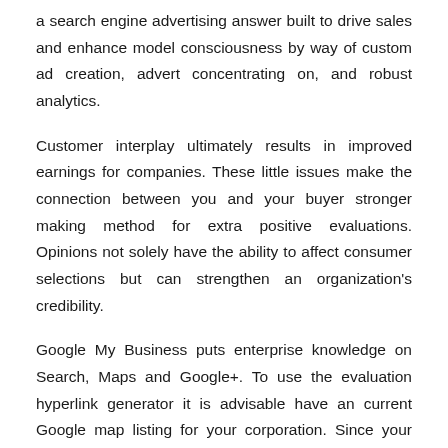a search engine advertising answer built to drive sales and enhance model consciousness by way of custom ad creation, advert concentrating on, and robust analytics.
Customer interplay ultimately results in improved earnings for companies. These little issues make the connection between you and your buyer stronger making method for extra positive evaluations. Opinions not solely have the ability to affect consumer selections but can strengthen an organization's credibility.
Google My Business puts enterprise knowledge on Search, Maps and Google+. To use the evaluation hyperlink generator it is advisable have an current Google map listing for your corporation. Since your model shall be talked about quite a bit in critiques, your brand will grow to be extra related within the search engine results.